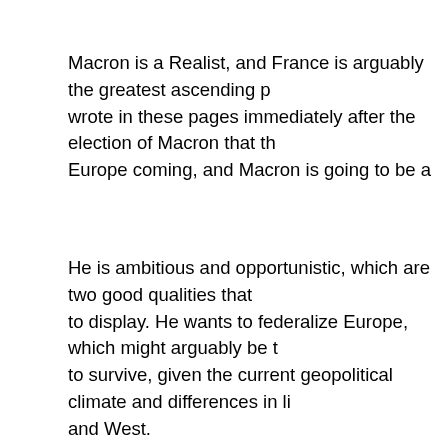Macron is a Realist, and France is arguably the greatest ascending p… wrote in these pages immediately after the election of Macron that th… Europe coming, and Macron is going to be a key player in that regar…
He is ambitious and opportunistic, which are two good qualities that… to display. He wants to federalize Europe, which might arguably be t… to survive, given the current geopolitical climate and differences in li… and West.
Macron's recent China visit underscores all the points I made above… arguably EU's greatest trade partner in the making, Macron visited X… original silk road, and saw the famed terracotta army. Showing class… Macron gifted an 8-year-old brown horse, belonging to the elite Fren… the republican guard, to President Xi, who is himself an admirer of th…
Previously, Macron's wife Brigitte was named a godmother of a panc… also, unlike modern Western premiers, is actually knowledgeable abo… Chinese state media, saying "China is a country that fascinates me,… [it is] the oldest living civilization – a 'state older than history', as Ger…